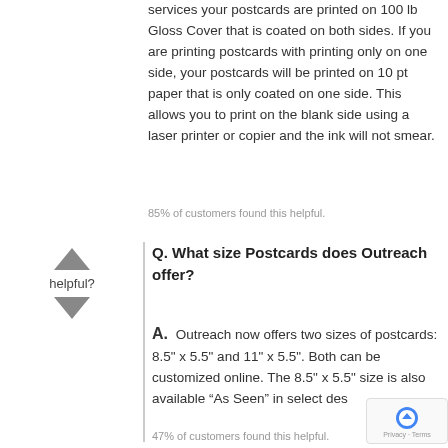services your postcards are printed on 100 lb Gloss Cover that is coated on both sides. If you are printing postcards with printing only on one side, your postcards will be printed on 10 pt paper that is only coated on one side. This allows you to print on the blank side using a laser printer or copier and the ink will not smear.
85% of customers found this helpful.
Q. What size Postcards does Outreach offer?
A. Outreach now offers two sizes of postcards: 8.5" x 5.5" and 11" x 5.5". Both can be customized online. The 8.5" x 5.5" size is also available “As Seen” in select des
47% of customers found this helpful.